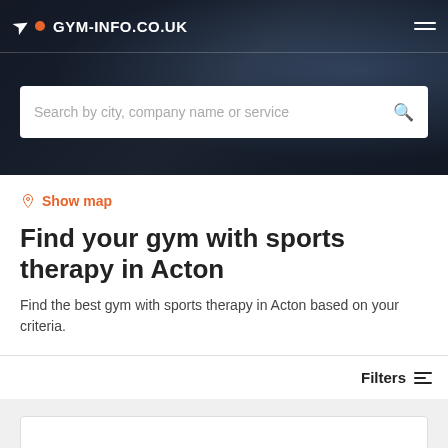GYM-INFO.CO.UK
[Figure (screenshot): Hero banner with dark gym background photo showing person exercising, with search bar overlay]
Search by city, company name or service
Show map
Find your gym with sports therapy in Acton
Find the best gym with sports therapy in Acton based on your criteria.
Filters